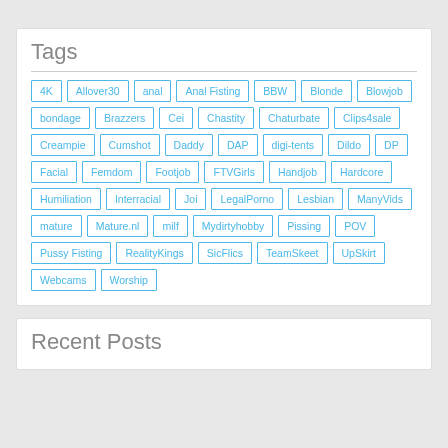Tags
4K
Allover30
anal
Anal Fisting
BBW
Blonde
Blowjob
bondage
Brazzers
Cei
Chastity
Chaturbate
Clips4sale
Creampie
Cumshot
Daddy
DAP
digi-tents
Dildo
DP
Facial
Femdom
Footjob
FTVGirls
Handjob
Hardcore
Humiliation
Interracial
Joi
LegalPorno
Lesbian
ManyVids
mature
Mature.nl
milf
Mydirtyhobby
Pissing
POV
Pussy Fisting
RealityKings
SicFlics
TeamSkeet
UpSkirt
Webcams
Worship
Recent Posts